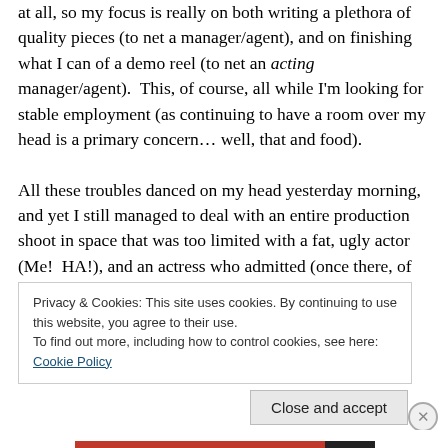at all, so my focus is really on both writing a plethora of quality pieces (to net a manager/agent), and on finishing what I can of a demo reel (to net an acting manager/agent).  This, of course, all while I'm looking for stable employment (as continuing to have a room over my head is a primary concern… well, that and food).

All these troubles danced on my head yesterday morning, and yet I still managed to deal with an entire production shoot in space that was too limited with a fat, ugly actor (Me!  HA!), and an actress who admitted (once there, of course) that my lines were too difficult for her to enunciate
Privacy & Cookies: This site uses cookies. By continuing to use this website, you agree to their use.
To find out more, including how to control cookies, see here: Cookie Policy
Close and accept